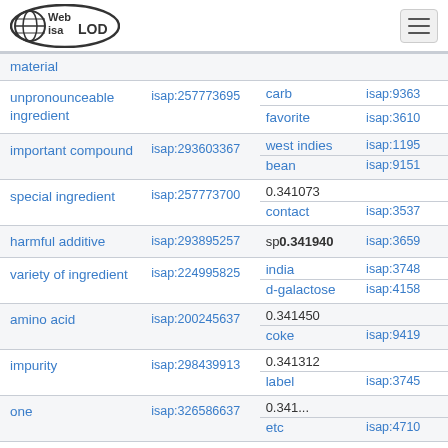[Figure (logo): Web isa LOD globe logo with oval border]
| Concept | ISAP ID (left) | Related Concept | ISAP ID (right) |
| --- | --- | --- | --- |
| material (partial) |  |  |  |
| unpronounceable ingredient | isap:257773695 | carb | isap:9363 |
|  |  | favorite | isap:3610 |
| important compound | isap:293603367 | west indies | isap:1195 |
|  |  | bean | isap:9151 |
| special ingredient | isap:257773700 | 0.341073 |  |
|  |  | contact | isap:3537 |
| harmful additive | isap:293895257 | sp 0.341940 | isap:3659 |
| variety of ingredient | isap:224995825 | india | isap:3748 |
|  |  | d-galactose | isap:4158 |
| amino acid | isap:200245637 | 0.341450 |  |
|  |  | coke | isap:9419 |
| impurity | isap:298439913 | 0.341312 |  |
|  |  | label | isap:3745 |
| one | isap:326586637 | 0.341... |  |
|  |  | etc | isap:4710 |